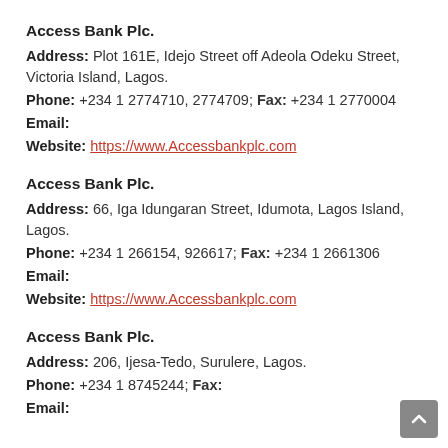Access Bank Plc.
Address: Plot 161E, Idejo Street off Adeola Odeku Street, Victoria Island, Lagos.
Phone: +234 1 2774710, 2774709; Fax: +234 1 2770004
Email:
Website: https://www.Accessbankplc.com
Access Bank Plc.
Address: 66, Iga Idungaran Street, Idumota, Lagos Island, Lagos.
Phone: +234 1 266154, 926617; Fax: +234 1 2661306
Email:
Website: https://www.Accessbankplc.com
Access Bank Plc.
Address: 206, Ijesa-Tedo, Surulere, Lagos.
Phone: +234 1 8745244; Fax:
Email: